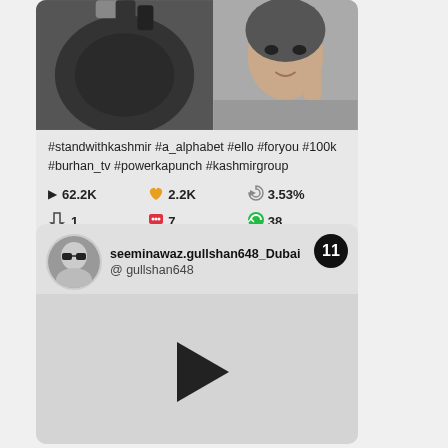[Figure (screenshot): Social media video card showing split image: left side dark ground/manhole, right side woman's face. Hashtags and engagement stats below.]
#standwithkashmir #a_alphabet #ello #foryou #100k #burhan_tv #powerkapunch #kashmirgroup
62.2K  2.2K  3.53%  1  7  38
[Figure (screenshot): Social media profile card for seeminawaz.gullshan648_Dubai (@gullshan648) with avatar, badge number 11, and video placeholder with play button.]
seeminawaz.gullshan648_Dubai
@ gullshan648